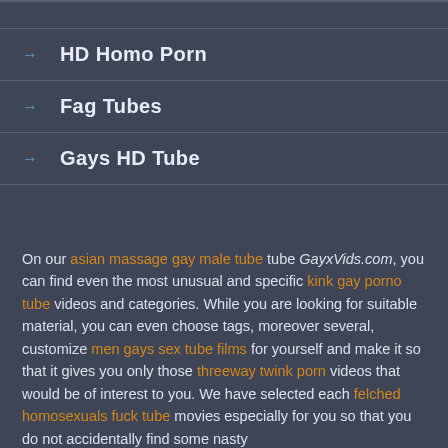→ HD Homo Porn
→ Fag Tubes
→ Gays HD Tube
On our asian massage gay male tube tube GayxVids.com, you can find even the most unusual and specific kink gay porno tube videos and categories. While you are looking for suitable material, you can even choose tags, moreover several, customize men gays sex tube films for yourself and make it so that it gives you only those threeway twink porn videos that would be of interest to you. We have selected each felched homosexuals fuck tube movies especially for you so that you do not accidentally find some nasty